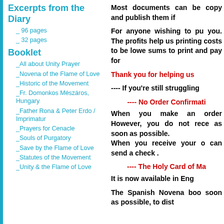Excerpts from the Diary
_ 96 pages
_ 32 pages
Booklet
_All about Unity Prayer
_Novena of the Flame of Love
_Historic of the Movement
_Fr. Domonkos Mészáros, Hungary
_Father Rona & Peter Erdo / Imprimatur
_Prayers for Cenacle
_Souls of Purgatory
_Save by the Flame of Love
_Statutes of the Movement
_Unity & the Flame of Love
Most documents can be copy and publish them if
For anyone wishing to pu you. The profits help us printing costs to be lowe sums to print and pay for
Thank you for helping us
---- If you're still struggling
---- No Order Confirmati
When you make an order However, you do not rece as soon as possible. When you receive your o can send a check .
---- The Holy Card of Ma
It is now available in Eng
The Spanish Novena boo soon as possible, to dist